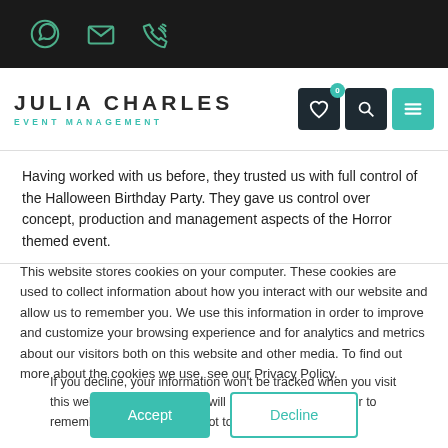Julia Charles Event Management
Halloween Venue Dressing Service, we could create a Halloween anywhere together.
Having worked with us before, they trusted us with full control of the Halloween Birthday Party. They gave us control over concept, production and management aspects of the Horror themed event.
This website stores cookies on your computer. These cookies are used to collect information about how you interact with our website and allow us to remember you. We use this information in order to improve and customize your browsing experience and for analytics and metrics about our visitors both on this website and other media. To find out more about the cookies we use, see our Privacy Policy.
If you decline, your information won’t be tracked when you visit this website. A single cookie will be used in your browser to remember your preference not to be tracked.
Accept | Decline